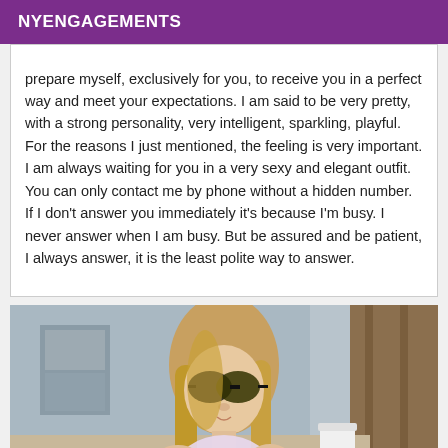NYENGAGEMENTS
prepare myself, exclusively for you, to receive you in a perfect way and meet your expectations. I am said to be very pretty, with a strong personality, very intelligent, sparkling, playful. For the reasons I just mentioned, the feeling is very important. I am always waiting for you in a very sexy and elegant outfit. You can only contact me by phone without a hidden number. If I don't answer you immediately it's because I'm busy. I never answer when I am busy. But be assured and be patient, I always answer, it is the least polite way to answer.
[Figure (photo): Young woman with long blonde hair and sunglasses, wearing a bikini top, photographed outdoors]